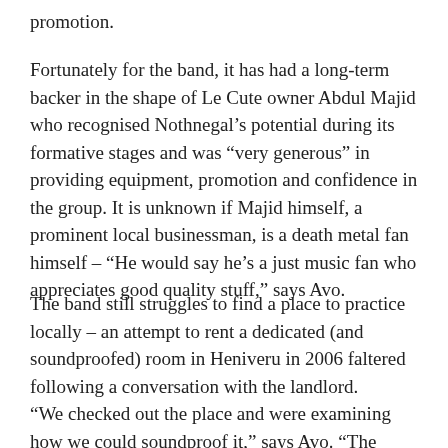promotion.
Fortunately for the band, it has had a long-term backer in the shape of Le Cute owner Abdul Majid who recognised Nothnegal’s potential during its formative stages and was “very generous” in providing equipment, promotion and confidence in the group. It is unknown if Majid himself, a prominent local businessman, is a death metal fan himself – “He would say he’s a just music fan who appreciates good quality stuff,” says Avo.
The band still struggles to find a place to practice locally – an attempt to rent a dedicated (and soundproofed) room in Heniveru in 2006 faltered following a conversation with the landlord.
“We checked out the place and were examining how we could soundproof it,” says Avo. “The landlord